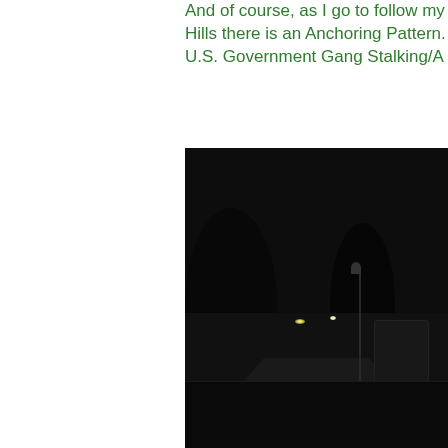And of course, as I go to follow my ... Hills there is an Anchoring Pattern. ... U.S. Government Gang Stalking/A ...
[Figure (photo): Nighttime photograph taken from inside a vehicle showing a dark street scene. There are faint lights visible in the distance, a street lamp or sign post visible on the right side, trees silhouetted against a very dark sky, and the car dashboard visible at the bottom of the frame.]